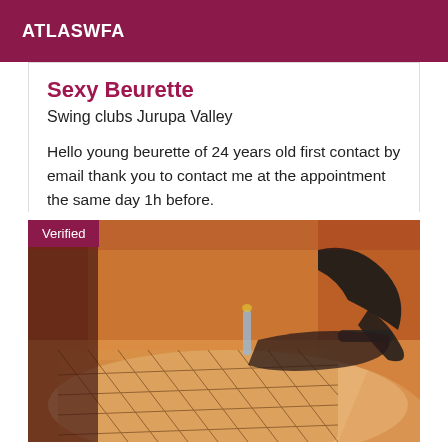ATLASWFA
Sexy Beurette
Swing clubs Jurupa Valley
Hello young beurette of 24 years old first contact by email thank you to contact me at the appointment the same day 1h before.
[Figure (photo): Photo of a person wearing fishnet stockings and black high-heeled shoes, reclining on a surface with warm orange-toned lighting. A 'Verified' badge is overlaid in the top-left corner.]